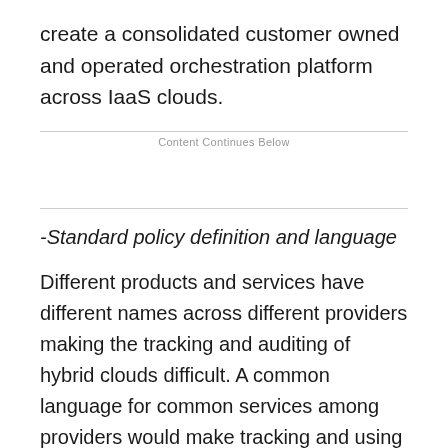create a consolidated customer owned and operated orchestration platform across IaaS clouds.
Content Continues Below
-Standard policy definition and language
Different products and services have different names across different providers making the tracking and auditing of hybrid clouds difficult. A common language for common services among providers would make tracking and using these services easier.
Reality check